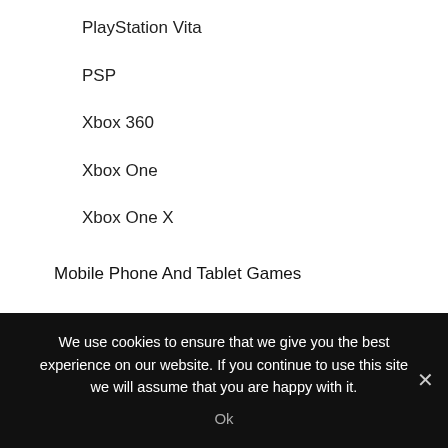PlayStation Vita
PSP
Xbox 360
Xbox One
Xbox One X
Mobile Phone And Tablet Games
Android
Apple iOS
iPad
We use cookies to ensure that we give you the best experience on our website. If you continue to use this site we will assume that you are happy with it.
Ok